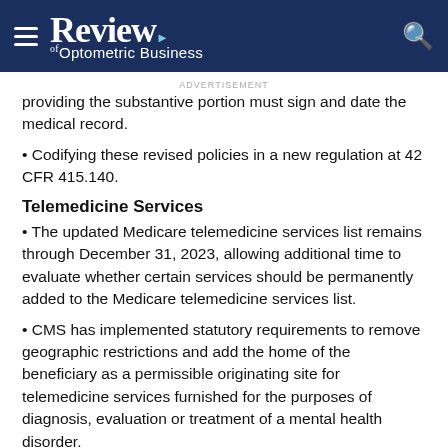Review of Optometric Business
providing the substantive portion must sign and date the medical record.
Codifying these revised policies in a new regulation at 42 CFR 415.140.
Telemedicine Services
The updated Medicare telemedicine services list remains through December 31, 2023, allowing additional time to evaluate whether certain services should be permanently added to the Medicare telemedicine services list.
CMS has implemented statutory requirements to remove geographic restrictions and add the home of the beneficiary as a permissible originating site for telemedicine services furnished for the purposes of diagnosis, evaluation or treatment of a mental health disorder.